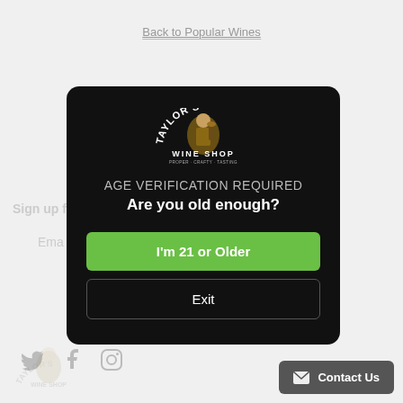Back to Popular Wines
Sign up f…
Ema…
[Figure (screenshot): Age verification modal dialog for Taylor's Wine Shop with logo, 'AGE VERIFICATION REQUIRED' heading, 'Are you old enough?' question, green 'I'm 21 or Older' button, and 'Exit' button on black background]
[Figure (logo): Social media icons: Twitter bird, Facebook F, Instagram camera]
[Figure (logo): Taylor's Wine Shop watermark logo at bottom left]
Contact Us